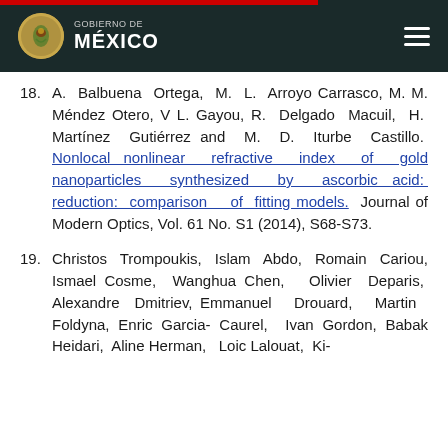GOBIERNO DE MÉXICO
18. A. Balbuena Ortega, M. L. Arroyo Carrasco, M. M. Méndez Otero, V L. Gayou, R. Delgado Macuil, H. Martínez Gutiérrez and M. D. Iturbe Castillo. Nonlocal nonlinear refractive index of gold nanoparticles synthesized by ascorbic acid: reduction: comparison of fitting models. Journal of Modern Optics, Vol. 61 No. S1 (2014), S68-S73.
19. Christos Trompoukis, Islam Abdo, Romain Cariou, Ismael Cosme, Wanghua Chen, Olivier Deparis, Alexandre Dmitriev, Emmanuel Drouard, Martin Foldyna, Enric Garcia- Caurel, Ivan Gordon, Babak Heidari, Aline Herman, Loic Lalouat, Ki-